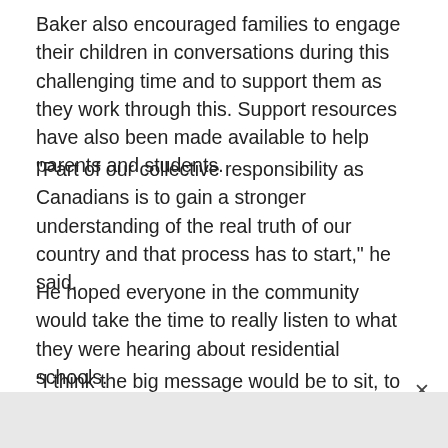Baker also encouraged families to engage their children in conversations during this challenging time and to support them as they work through this. Support resources have also been made available to help parents and students.
"Part of our collective responsibility as Canadians is to gain a stronger understanding of the real truth of our country and that process has to start," he said.
He hoped everyone in the community would take the time to really listen to what they were hearing about residential schools.
“I think the big message would be to sit, to listen, to honour and respect the knowledge that you’re hearin